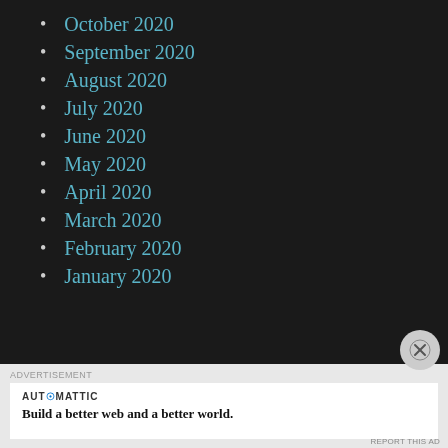October 2020
September 2020
August 2020
July 2020
June 2020
May 2020
April 2020
March 2020
February 2020
January 2020
ADVERTISEMENT
AUTOMATTIC
Build a better web and a better world.
REPORT THIS AD